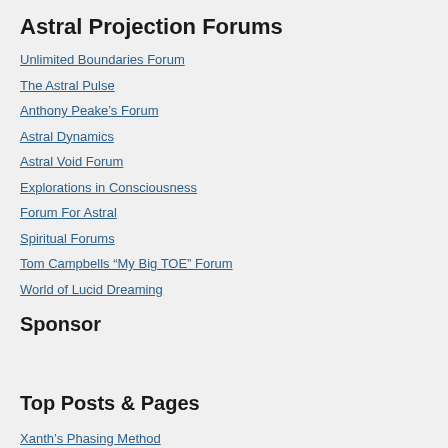Astral Projection Forums
Unlimited Boundaries Forum
The Astral Pulse
Anthony Peake's Forum
Astral Dynamics
Astral Void Forum
Explorations in Consciousness
Forum For Astral
Spiritual Forums
Tom Campbells “My Big TOE” Forum
World of Lucid Dreaming
Sponsor
Top Posts & Pages
Xanth’s Phasing Method
Regarding Binaural Beats - Tom Campbell
An Easy Guide and a Step By Step Book on Astral Projection